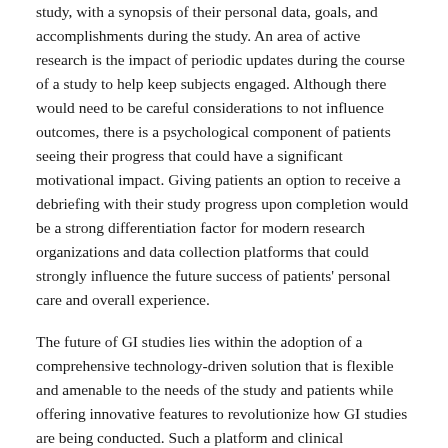study, with a synopsis of their personal data, goals, and accomplishments during the study. An area of active research is the impact of periodic updates during the course of a study to help keep subjects engaged. Although there would need to be careful considerations to not influence outcomes, there is a psychological component of patients seeing their progress that could have a significant motivational impact. Giving patients an option to receive a debriefing with their study progress upon completion would be a strong differentiation factor for modern research organizations and data collection platforms that could strongly influence the future success of patients' personal care and overall experience.
The future of GI studies lies within the adoption of a comprehensive technology-driven solution that is flexible and amenable to the needs of the study and patients while offering innovative features to revolutionize how GI studies are being conducted. Such a platform and clinical